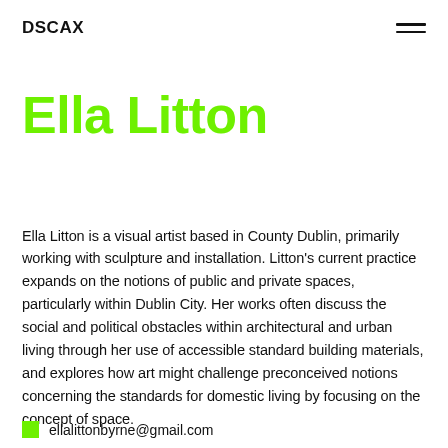DSCAX
Ella Litton
Ella Litton is a visual artist based in County Dublin, primarily working with sculpture and installation. Litton’s current practice expands on the notions of public and private spaces, particularly within Dublin City. Her works often discuss the social and political obstacles within architectural and urban living through her use of accessible standard building materials, and explores how art might challenge preconceived notions concerning the standards for domestic living by focusing on the concept of space.
ellalittonbyrne@gmail.com